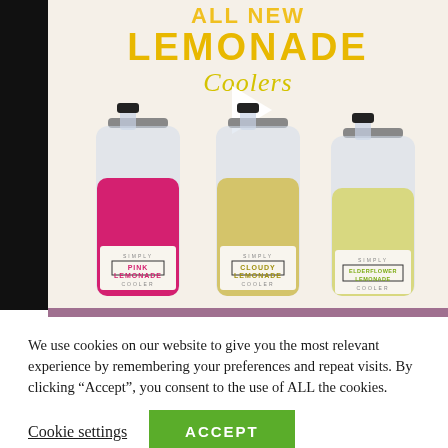[Figure (photo): Advertisement for Simply brand 'All New Lemonade Coolers' showing three bottles: Pink Lemonade, Cloudy Lemonade, and Elderflower Lemonade Cooler, on a cream/beige background. A play button triangle is overlaid on the center bottle. Text at top reads 'All New LEMONADE Coolers' in yellow/gold lettering.]
We use cookies on our website to give you the most relevant experience by remembering your preferences and repeat visits. By clicking “Accept”, you consent to the use of ALL the cookies.
Cookie settings
ACCEPT